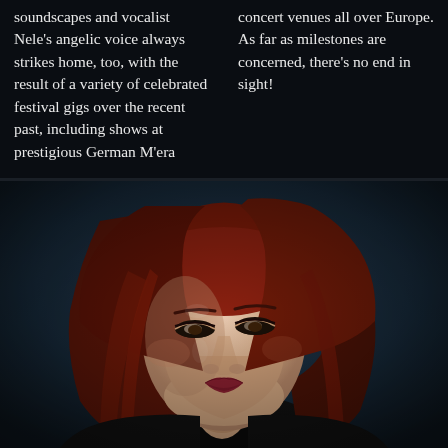soundscapes and vocalist Nele's angelic voice always strikes home, too, with the result of a variety of celebrated festival gigs over the recent past, including shows at prestigious German M'era
concert venues all over Europe. As far as milestones are concerned, there's no end in sight!
[Figure (photo): Portrait photograph of a young woman with long red hair, pale skin, wearing a black lace top, posed with head tilted slightly, against a dark blue-grey background.]